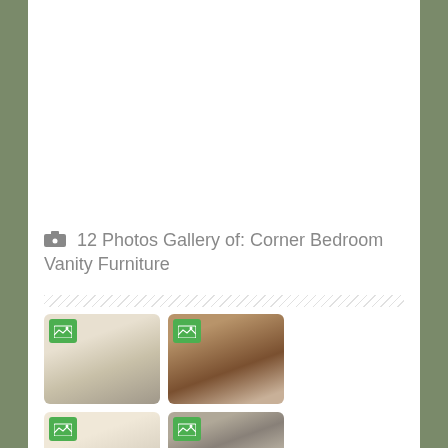12 Photos Gallery of: Corner Bedroom Vanity Furniture
[Figure (photo): Thumbnail gallery showing bedroom and vanity furniture photos with green image icons. Row 1: three photos of bedroom/vanity areas. Row 2 (partial): three more photos partially visible.]